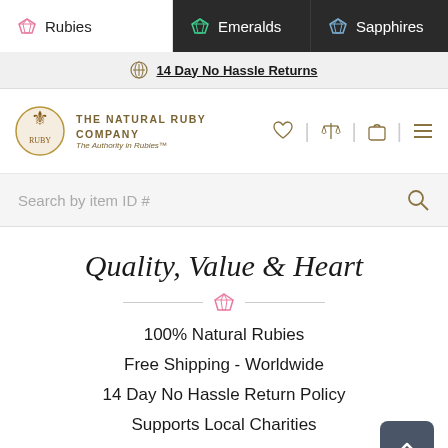Rubies | Emeralds | Sapphires
14 Day No Hassle Returns
[Figure (logo): The Natural Ruby Company crest logo with text: THE NATURAL RUBY COMPANY, The Authority in Rubies™]
Search by item ID #
Quality, Value & Heart
100% Natural Rubies
Free Shipping - Worldwide
14 Day No Hassle Return Policy
Supports Local Charities